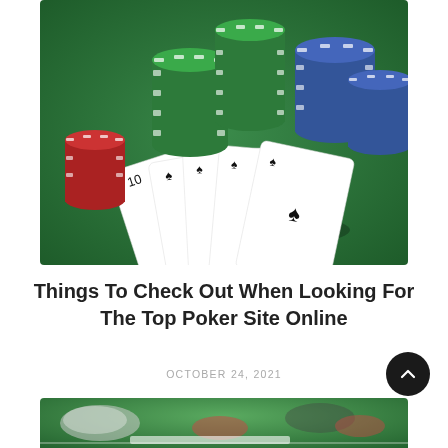[Figure (photo): Poker chips in green, blue, and red stacked on a green felt table with playing cards fanned out showing club suits and numbers]
Things To Check Out When Looking For The Top Poker Site Online
OCTOBER 24, 2021
[Figure (photo): Partial view of poker chips and cards on a green felt table, partially out of frame at bottom of page]